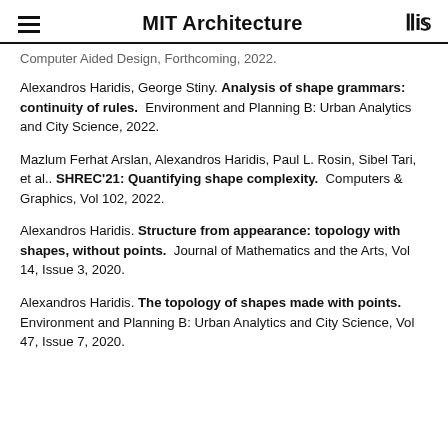MIT Architecture
Computer Aided Design, Forthcoming, 2022.
Alexandros Haridis, George Stiny. Analysis of shape grammars: continuity of rules. Environment and Planning B: Urban Analytics and City Science, 2022.
Mazlum Ferhat Arslan, Alexandros Haridis, Paul L. Rosin, Sibel Tari, et al.. SHREC'21: Quantifying shape complexity. Computers & Graphics, Vol 102, 2022.
Alexandros Haridis. Structure from appearance: topology with shapes, without points. Journal of Mathematics and the Arts, Vol 14, Issue 3, 2020.
Alexandros Haridis. The topology of shapes made with points. Environment and Planning B: Urban Analytics and City Science, Vol 47, Issue 7, 2020.